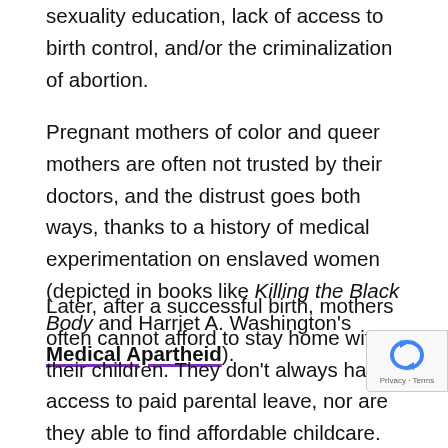sexuality education, lack of access to birth control, and/or the criminalization of abortion.
Pregnant mothers of color and queer mothers are often not trusted by their doctors, and the distrust goes both ways, thanks to a history of medical experimentation on enslaved women (depicted in books like Killing the Black Body and Harriet A. Washington's Medical Apartheid).
Later, after a successful birth, mothers often cannot afford to stay home with their children. They don't always have access to paid parental leave, nor are they able to find affordable childcare. Their employers, meanwhile, often don't offer flexible or remote wo... This places mothers in the impossible position of either